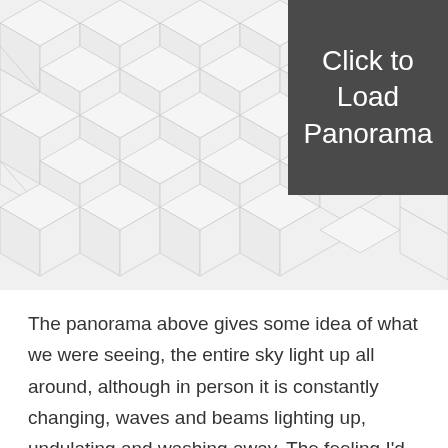[Figure (illustration): A panorama placeholder image showing an isometric cube/hexagon tile pattern in light gray on a white background, with a dark gray overlay in the top-right corner containing the text 'Click to Load Panorama']
The panorama above gives some idea of what we were seeing, the entire sky light up all around, although in person it is constantly changing, waves and beams lighting up, undulating and washing away. The feeling I'd had of being pressed for time, even now twenty hours into driving around